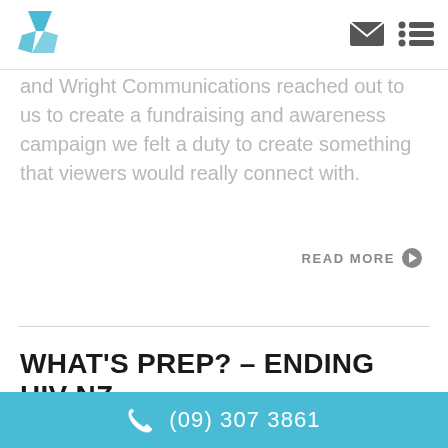[Figure (logo): Blue geometric logo made of 3 faceted crystal-like pieces]
[Figure (illustration): Envelope icon and bullet-list/menu icon in dark grey]
and Wright Communications reached out to us to create a fundraising and awareness campaign we felt a duty to create something that viewers would really connect with.
READ MORE ❯
WHAT'S PREP? – ENDING HIV NZ
⊙ ON AUGUST 19, 2020
(09) 307 3861